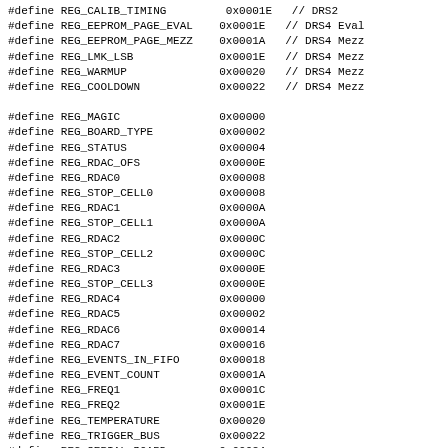#define REG_CALIB_TIMING         0x0001E   // DRS2
#define REG_EEPROM_PAGE_EVAL    0x0001E   // DRS4 Eval
#define REG_EEPROM_PAGE_MEZZ    0x0001A   // DRS4 Mezz
#define REG_LMK_LSB             0x0001E   // DRS4 Mezz
#define REG_WARMUP              0x00020   // DRS4 Mezz
#define REG_COOLDOWN            0x00022   // DRS4 Mezz

#define REG_MAGIC               0x00000
#define REG_BOARD_TYPE          0x00002
#define REG_STATUS              0x00004
#define REG_RDAC_OFS            0x0000E
#define REG_RDAC0               0x00008
#define REG_STOP_CELL0          0x00008
#define REG_RDAC1               0x0000A
#define REG_STOP_CELL1          0x0000A
#define REG_RDAC2               0x0000C
#define REG_STOP_CELL2          0x0000C
#define REG_RDAC3               0x0000E
#define REG_STOP_CELL3          0x0000E
#define REG_RDAC4               0x00000
#define REG_RDAC5               0x00002
#define REG_RDAC6               0x00014
#define REG_RDAC7               0x00016
#define REG_EVENTS_IN_FIFO      0x00018
#define REG_EVENT_COUNT         0x0001A
#define REG_FREQ1               0x0001C
#define REG_FREQ2               0x0001E
#define REG_TEMPERATURE         0x00020
#define REG_TRIGGER_BUS         0x00022
#define REG_SERIAL_BOARD        0x00024
#define REG_VERSION_FW          0x00026

/*     Control register bit definitions